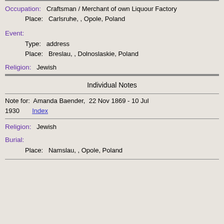Note for:  Erich Blaschawoky,  10 Aug 1861 - 1942   Index
Occupation:   Craftsman / Merchant of own Liquour Factory
    Place:   Carlsruhe, , Opole, Poland
Event:
    Type:   address
    Place:   Breslau, , Dolnoslaskie, Poland
Religion:   Jewish
Individual Notes
Note for:  Amanda Baender,  22 Nov 1869 - 10 Jul 1930    Index
Religion:   Jewish
Burial:
    Place:   Namslau, , Opole, Poland